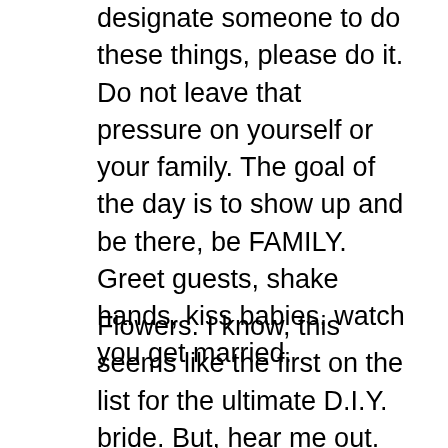designate someone to do these things, please do it. Do not leave that pressure on yourself or your family. The goal of the day is to show up and be there, be FAMILY. Greet guests, shake hands, kiss babies, watch you get married.
Flowers. I know, this seems like the first on the list for the ultimate D.I.Y. bride. But, hear me out. There’s a reason I’m opposed. First off, the knowledge of a florist is a big deal. They may seem “pricey” but flowers themselves aren’t cheap. The “mark up” the florist’s are chagrining you is threefold: for their time, their design experience, and their skill to execute. Add that to the fact that the more experienced they are the more they are the more connections they have